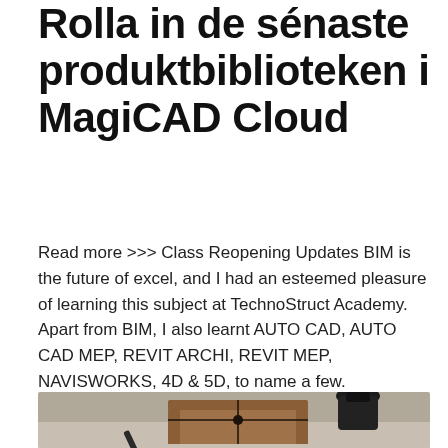Rolla in de sénaste produktbiblioteken i MagiCAD Cloud
Read more >>> Class Reopening Updates BIM is the future of excel, and I had an esteemed pleasure of learning this subject at TechnoStruct Academy. Apart from BIM, I also learnt AUTO CAD, AUTO CAD MEP, REVIT ARCHI, REVIT MEP, NAVISWORKS, 4D & 5D, to name a few.
[Figure (photo): Photo of a brown paper-wrapped parcel tied with black string, a pencil, and a dark ink bottle on a grey surface]